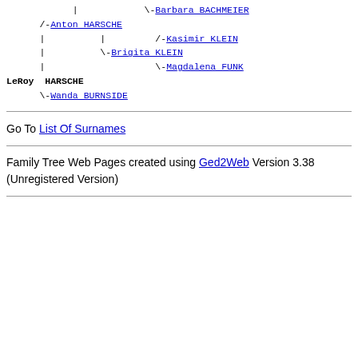| \-Barbara BACHMEIER
/-Anton HARSCHE
| | /-Kasimir KLEIN
| \-Brigita KLEIN
| \-Magdalena FUNK
LeRoy HARSCHE
\-Wanda BURNSIDE
Go To List Of Surnames
Family Tree Web Pages created using Ged2Web Version 3.38 (Unregistered Version)